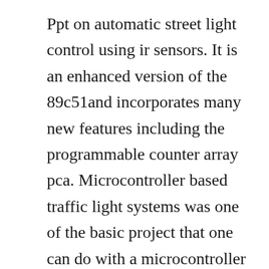Ppt on automatic street light control using ir sensors. It is an enhanced version of the 89c51and incorporates many new features including the programmable counter array pca. Microcontroller based traffic light systems was one of the basic project that one can do with a microcontroller to understand its concepts and working. Design and implementation of automatic street light. Automatic street light control system using microcontroller. Like, at a time, there will be two red signals on any of the two. The main